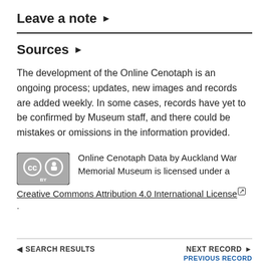Leave a note ▶
Sources ▶
The development of the Online Cenotaph is an ongoing process; updates, new images and records are added weekly. In some cases, records have yet to be confirmed by Museum staff, and there could be mistakes or omissions in the information provided.
Online Cenotaph Data by Auckland War Memorial Museum is licensed under a Creative Commons Attribution 4.0 International License.
◄ SEARCH RESULTS    NEXT RECORD ►    PREVIOUS RECORD